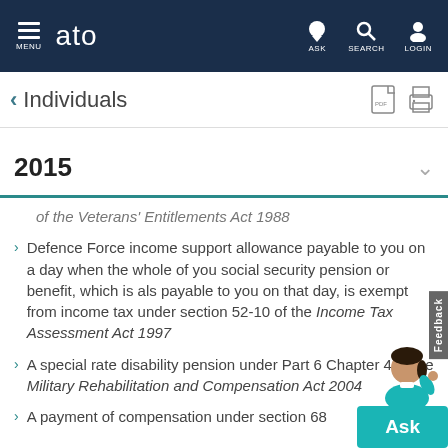MENU  ato  ASK  SEARCH  LOGIN
Individuals
2015
of the Veterans' Entitlements Act 1986
Defence Force income support allowance payable to you on a day when the whole of your social security pension or benefit, which is also payable to you on that day, is exempt from income tax under section 52-10 of the Income Tax Assessment Act 1997
A special rate disability pension under Part 6, Chapter 4 of the Military Rehabilitation and Compensation Act 2004
A payment of compensation under section 68...